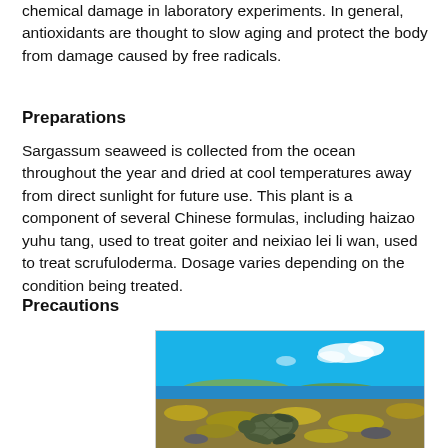chemical damage in laboratory experiments. In general, antioxidants are thought to slow aging and protect the body from damage caused by free radicals.
Preparations
Sargassum seaweed is collected from the ocean throughout the year and dried at cool temperatures away from direct sunlight for future use. This plant is a component of several Chinese formulas, including haizao yuhu tang, used to treat goiter and neixiao lei li wan, used to treat scrufuloderma. Dosage varies depending on the condition being treated.
Precautions
[Figure (photo): A sea turtle on a rocky shoreline covered with yellow-brown seaweed, with a bright blue sky and white clouds in the background, ocean visible on the horizon.]